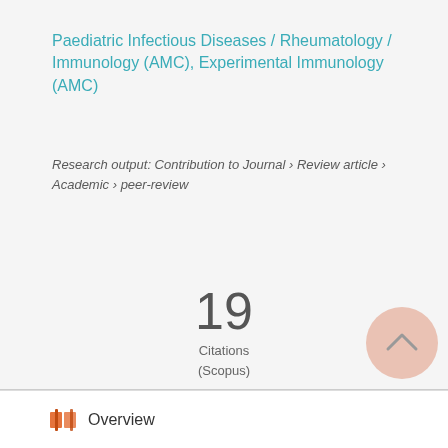Paediatric Infectious Diseases / Rheumatology / Immunology (AMC), Experimental Immunology (AMC)
Research output: Contribution to Journal › Review article › Academic › peer-review
[Figure (other): Citations count badge showing 19 Citations (Scopus)]
[Figure (donut-chart): Altmetric donut badge showing score of 3]
[Figure (other): Scroll to top circular button (salmon/pink color with upward arrow)]
Overview